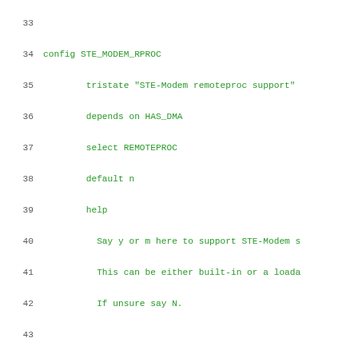Source code listing lines 33-54 of a Linux kernel Kconfig file showing STE_MODEM_RPROC and WKUP_M3_RPROC configuration entries
33
34 config STE_MODEM_RPROC
35         tristate "STE-Modem remoteproc support"
36         depends on HAS_DMA
37         select REMOTEPROC
38         default n
39         help
40           Say y or m here to support STE-Modem s
41           This can be either built-in or a loada
42           If unsure say N.
43
44 config WKUP_M3_RPROC
45         tristate "AMx3xx Wakeup M3 remoteproc su
46         depends on SOC_AM33XX || SOC_AM43XX
47         select REMOTEPROC
48         help
49           Say y here to support Wakeup M3 remot
50           and AM43xx family of SoCs.
51
52           Required for Suspend-to-RAM on AM33xx
53           for deep CPUIdle states on AM33xx SoCs
54           firmware on the remote